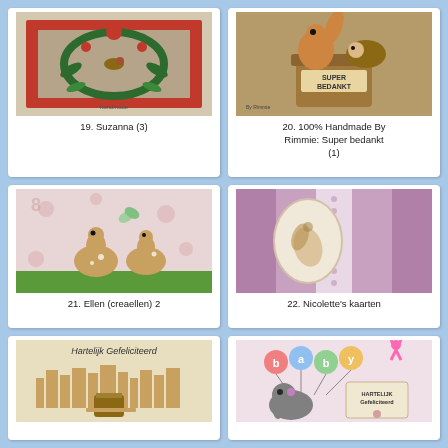[Figure (photo): Handmade card #19 with Christmas wreath, birds, red flowers and green leaves on a red framed background]
19. Suzanna (3)
[Figure (photo): Handmade card #20 with squirrel and hedgehog in basket with 'Super Bedankt' label by Rimmie]
20. 100% Handmade By Rimmie: Super bedankt (1)
[Figure (photo): Handmade card #21 with two cute deer on pink floral background with butterfly]
21. Ellen (creaellen) 2
[Figure (photo): Handmade card #22 with floral oval cameo on purple striped and lace background]
22. Nicolette's kaarten
[Figure (photo): Handmade card #23 with cityscape silhouette and 'Hartelijk Gefeliciteerd' text on cream background]
[Figure (photo): Handmade card #24 with baby elephant and 'baby' balloon letters, pink ribbon and 'Hartelijk Gefeliciteerd' tag]